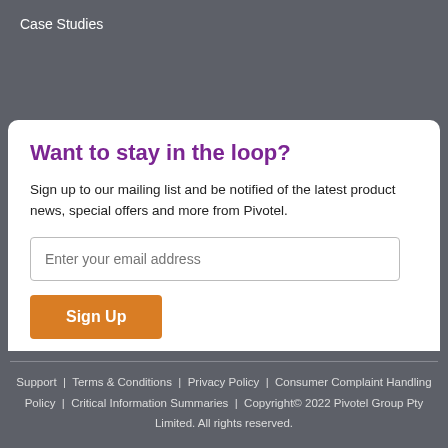Case Studies
Want to stay in the loop?
Sign up to our mailing list and be notified of the latest product news, special offers and more from Pivotel.
Enter your email address
Sign Up
By submitting your email address, you agree to receive future emails from Pivotel
Support | Terms & Conditions | Privacy Policy | Consumer Complaint Handling Policy | Critical Information Summaries | Copyright© 2022 Pivotel Group Pty Limited. All rights reserved.